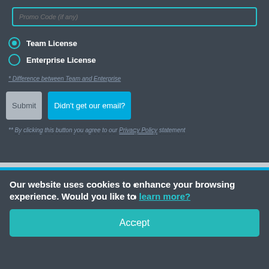Promo Code (if any)
Team License
Enterprise License
* Difference between Team and Enterprise
Submit
Didn't get our email?
** By clicking this button you agree to our Privacy Policy statement
Our website uses cookies to enhance your browsing experience. Would you like to learn more?
Accept